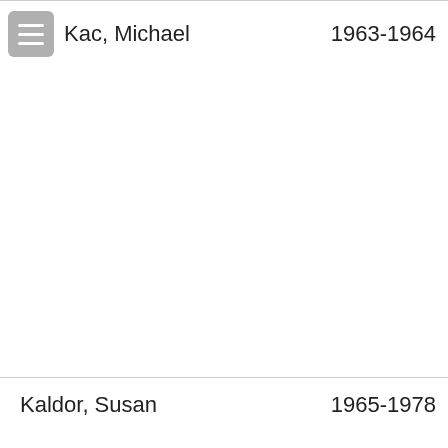Kac, Michael   1963-1964
Kaldor, Susan   1965-1978